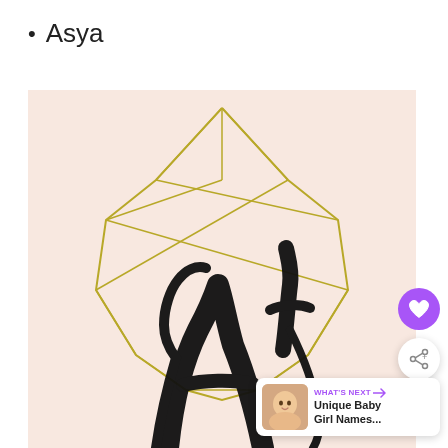Asya
[Figure (illustration): A decorative illustration with a pale pink background featuring a geometric gem/diamond outline drawn in olive/gold lines. In the lower-center area, large black brushstroke calligraphic letters (appearing to be 'Alt' or stylized text) are partially visible. The image is cropped showing only the upper and middle portion of the full design.]
WHAT'S NEXT → Unique Baby Girl Names...